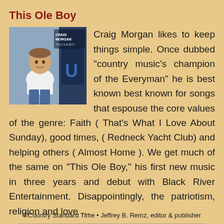This Ole Boy
[Figure (photo): Album cover photo of Craig Morgan for 'This Ole Boy' — shows Craig Morgan in a white t-shirt smiling, with album title text overlay]
Craig Morgan likes to keep things simple. Once dubbed "country music's champion of the Everyman" he is best known best known for songs that espouse the core values of the genre: Faith ( That's What I Love About Sunday), good times, ( Redneck Yacht Club) and helping others ( Almost Home ). We get much of the same on "This Ole Boy," his first new music in three years and debut with Black River Entertainment. Disappointingly, the patriotism, religion and love …
©Country Standard Time • Jeffrey B. Remz, editor & publisher